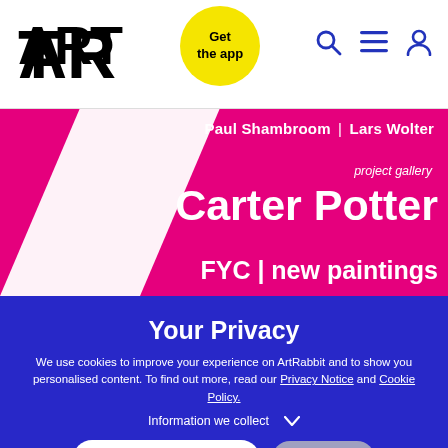[Figure (logo): ART rabbit logo in bold black text]
Get the app
[Figure (screenshot): Navigation icons: search, menu (hamburger), user account]
[Figure (illustration): Magenta/pink banner with diagonal white stripe. Shows text: Paul Shambroom | Lars Wolter, project gallery, Carter Potter, FYC | new paintings]
Your Privacy
We use cookies to improve your experience on ArtRabbit and to show you personalised content. To find out more, read our Privacy Notice and Cookie Policy.
Information we collect
I'm OK with that
Options